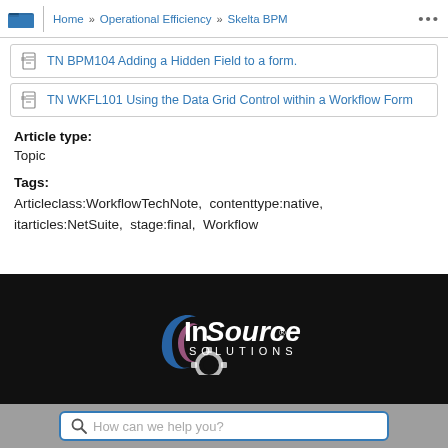Home » Operational Efficiency » Skelta BPM
TN BPM104 Adding a Hidden Field to a form.
TN WKFL101 Using the Data Grid Control within a Workflow Form
Article type:
Topic
Tags:
Articleclass:WorkflowTechNote,  contenttype:native,  itarticles:NetSuite,  stage:final,  Workflow
[Figure (logo): InSource Solutions logo on black background with gear icon partially visible at bottom]
How can we help you?